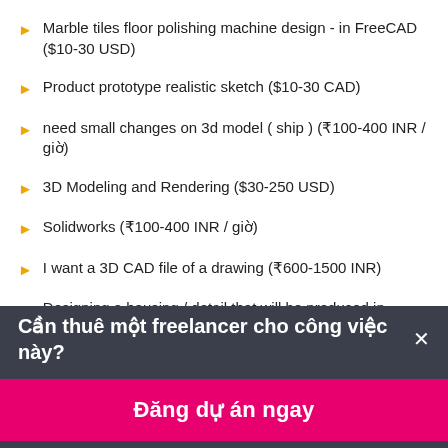Marble tiles floor polishing machine design - in FreeCAD ($10-30 USD)
Product prototype realistic sketch ($10-30 CAD)
need small changes on 3d model ( ship ) (₹100-400 INR / giờ)
3D Modeling and Rendering ($30-250 USD)
Solidworks (₹100-400 INR / giờ)
I want a 3D CAD file of a drawing (₹600-1500 INR)
Designing a housing / detail that will be produced in injection technology and will meet the IP68 standard.I am
Cần thuê một freelancer cho công việc này?×
Đăng dự án ngay